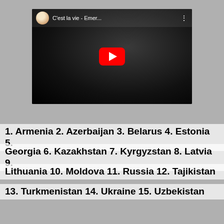[Figure (screenshot): YouTube video thumbnail showing 'C'est la vie - Emer...' with a black and white close-up of a person's face, a YouTube play button in the center, and a user avatar with title in the top bar]
1. Armenia 2. Azerbaijan 3. Belarus 4. Estonia 5.
Georgia 6. Kazakhstan 7. Kyrgyzstan 8. Latvia 9.
Lithuania 10. Moldova 11. Russia 12. Tajikistan
13. Turkmenistan 14. Ukraine 15. Uzbekistan